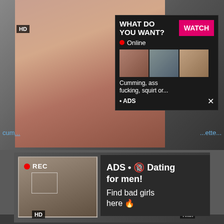[Figure (photo): Adult content website screenshot showing video thumbnails with HD badge and overlay ads]
WHAT DO YOU WANT?
WATCH
Online
Cumming, ass fucking, squirt or...
• ADS
REC
ADS • 🔞 Dating for men! Find bad girls here 🔥
HD
7min
Megan Gets Rammed Hardcore Tits Boobs
hardcore, tits, boobs, babe, pornstar, blowjob, busty, sens...